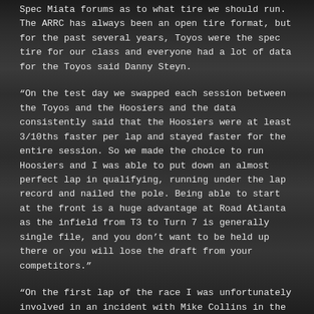Spec Miata forums as to what tire we should run. The ARRC has always been an open tire format, but for the past several years, Toyos were the spec tire for our class and everyone had a lot of data for the Toyos said Danny Steyn.
“On the test day we swapped each session between the Toyos and the Hoosiers and the data consistently said that the Hoosiers were at least 3/10ths faster per lap and stayed faster for the entire session. So we made the choice to run Hoosiers and I was able to put down an almost perfect lap in qualifying, running under the lap record and nailed the pole. Being able to start at the front is a huge advantage at Road Atlanta as the infield from T3 to Turn 7 is generally single file, and you don’t want to be held up there or you will lose the draft from your competitors.”
“On the first lap of the race I was unfortunately involved in an incident with Mike Collins in the lone SM5 car running in our class, and we both went off in T10B. I was able to resume and got back on the track in 14th place. We went Full Course Yellow for 4 laps for the cars and debris to be removed. I restarted in 12th, and thanks to the exceptional grip of the